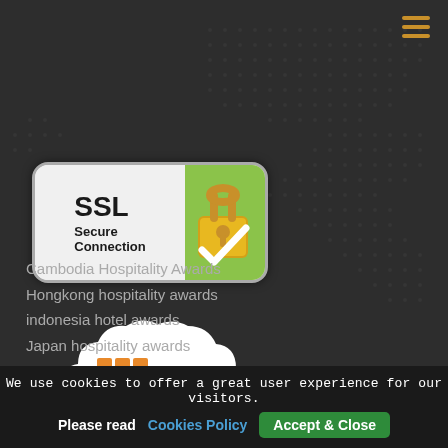[Figure (logo): Hamburger menu icon with three horizontal gold/orange lines in top right corner]
[Figure (logo): SSL Secure Connection badge: gray/white left side with bold SSL text and 'Secure Connection' label, green right side with gold padlock and white checkmark]
[Figure (logo): Amazon Web Services logo inside a white cloud shape: orange cube grid icon with 'amazon web services' text in dark color]
Cambodia Hospitality Awards
Hongkong hospitality awards
indonesia hotel awards
Japan hospitality awards
We use cookies to offer a great user experience for our visitors.
Please read   Cookies Policy   Accept & Close